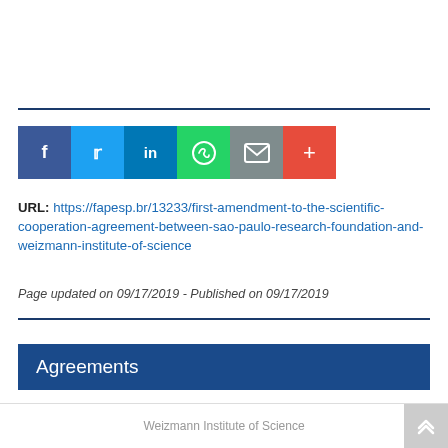[Figure (other): Social sharing buttons: Facebook (blue), Twitter (light blue), LinkedIn (dark blue), WhatsApp (green), Email (grey), Plus/More (red-orange)]
URL: https://fapesp.br/13233/first-amendment-to-the-scientific-cooperation-agreement-between-sao-paulo-research-foundation-and-weizmann-institute-of-science
Page updated on 09/17/2019 - Published on 09/17/2019
Agreements
Weizmann Institute of Science